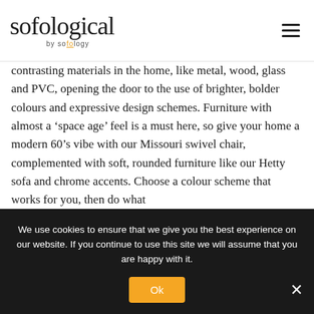sofological by sofology
contrasting materials in the home, like metal, wood, glass and PVC, opening the door to the use of brighter, bolder colours and expressive design schemes. Furniture with almost a ‘space age’ feel is a must here, so give your home a modern 60’s vibe with our Missouri swivel chair, complemented with soft, rounded furniture like our Hetty sofa and chrome accents. Choose a colour scheme that works for you, then do what
We use cookies to ensure that we give you the best experience on our website. If you continue to use this site we will assume that you are happy with it.